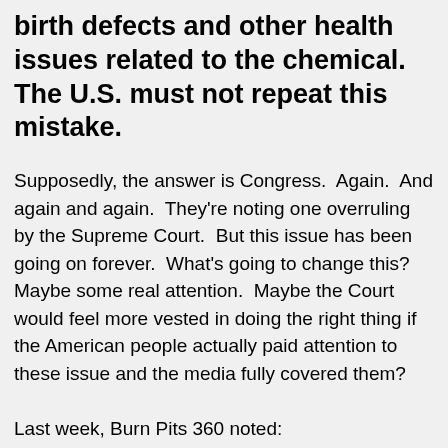birth defects and other health issues related to the chemical. The U.S. must not repeat this mistake.
Supposedly, the answer is Congress.  Again.  And again and again.  They're noting one overruling by the Supreme Court.  But this issue has been going on forever.  What's going to change this?  Maybe some real attention.  Maybe the Court would feel more vested in doing the right thing if the American people actually paid attention to these issue and the media fully covered them?
Last week, Burn Pits 360 noted: